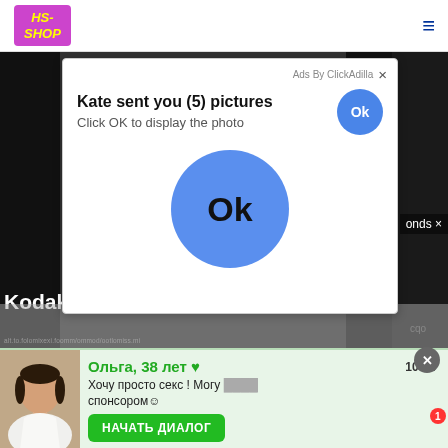HS-SHOP [logo] with hamburger menu
[Figure (screenshot): Ad popup overlay on dark background. Shows 'Kate sent you (5) pictures / Click OK to display the photo' with a large blue Ok circle button. Attribution: Ads By ClickAdilla with X close button. Background shows dark image with 'Kodak' text, 'onds X' label, and a URL bar.]
Kate sent you (5) pictures
Click OK to display the photo
Ads By ClickAdilla
Ok
Kodal
onds ×
сqо
2
Ольга, 38 лет ♥
10:04
Хочу просто секс ! Могу спонсором☺
НАЧАТЬ ДИАЛОГ